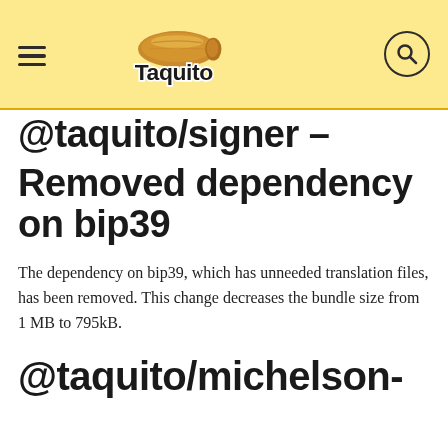Taquito
@taquito/signer - Removed dependency on bip39
The dependency on bip39, which has unneeded translation files, has been removed. This change decreases the bundle size from 1 MB to 795kB.
@taquito/michelson-